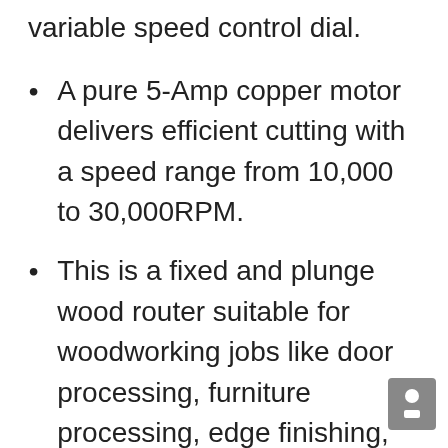variable speed control dial.
A pure 5-Amp copper motor delivers efficient cutting with a speed range from 10,000 to 30,000RPM.
This is a fixed and plunge wood router suitable for woodworking jobs like door processing, furniture processing, edge finishing, crafting and many more.